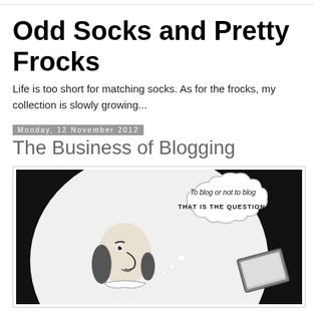Odd Socks and Pretty Frocks
Life is too short for matching socks. As for the frocks, my collection is slowly growing...
Monday, 12 November 2012
The Business of Blogging
[Figure (illustration): Cartoon illustration of a Shakespeare-like figure with a thought bubble saying 'To blog or not to blog THAT IS THE QUESTION.' with a laptop/tablet device, black and white drawing on dark background.]